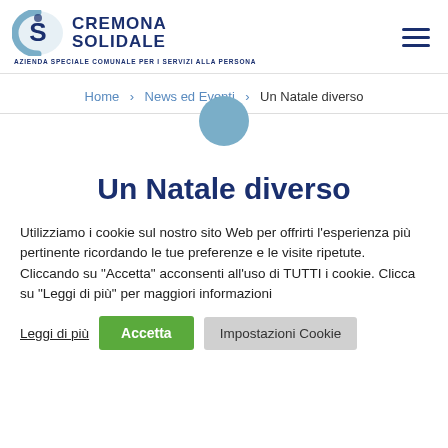Cremona Solidale — Azienda Speciale Comunale per i Servizi alla Persona
Home > News ed Eventi > Un Natale diverso
Un Natale diverso
Utilizziamo i cookie sul nostro sito Web per offrirti l'esperienza più pertinente ricordando le tue preferenze e le visite ripetute. Cliccando su "Accetta" acconsenti all'uso di TUTTI i cookie. Clicca su "Leggi di più" per maggiori informazioni
Leggi di più | Accetta | Impostazioni Cookie